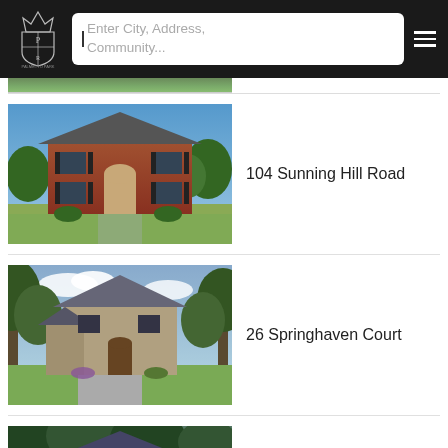Palmetto Park Realty — navigation header with search bar
[Figure (photo): Partial green top image strip (cropped from previous listing)]
[Figure (photo): Two-story brick colonial house with blue shutters and manicured lawn — 104 Sunning Hill Road]
104 Sunning Hill Road
[Figure (photo): Two-story stone and brick house surrounded by lush trees — 26 Springhaven Court]
26 Springhaven Court
[Figure (photo): Partial view of a brick house with trees — third listing, cropped at bottom of page]